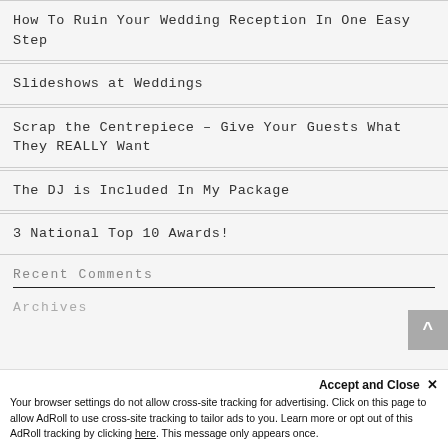How To Ruin Your Wedding Reception In One Easy Step
Slideshows at Weddings
Scrap the Centrepiece – Give Your Guests What They REALLY Want
The DJ is Included In My Package
3 National Top 10 Awards!
Recent Comments
Archives
Accept and Close ✕
Your browser settings do not allow cross-site tracking for advertising. Click on this page to allow AdRoll to use cross-site tracking to tailor ads to you. Learn more or opt out of this AdRoll tracking by clicking here. This message only appears once.